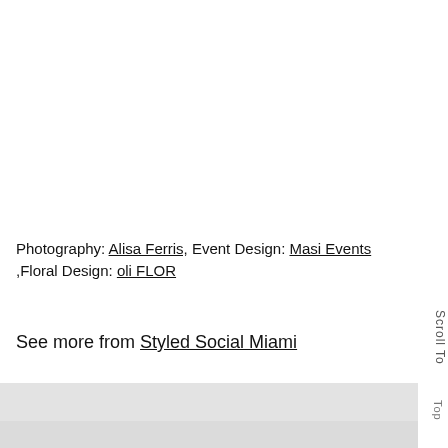Photography: Alisa Ferris, Event Design: Masi Events ,Floral Design: oli FLOR
See more from Styled Social Miami
[Figure (photo): Partial view of a photo showing a light background at top and a blurred image at bottom, likely a wedding or social event scene.]